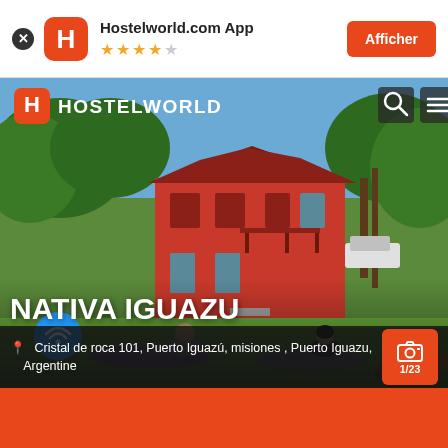Hostelworld.com App — Afficher (app banner)
[Figure (screenshot): Hostelworld website screenshot showing Nativa Iguazu hostel listing with hero photo of a red building surrounded by lush green garden, two people doing yoga on the lawn, wifi badge, hostel name overlay, and address bar showing Cristal de roca 101, Puerto Iguazú, misiones, Puerto Iguazu, Argentine. Top navigation bar with Hostelworld logo, search and menu icons. Photo counter showing 1/23.]
NATIVA IGUAZU
Cristal de roca 101, Puerto Iguazú, misiones , Puerto Iguazu, Argentine